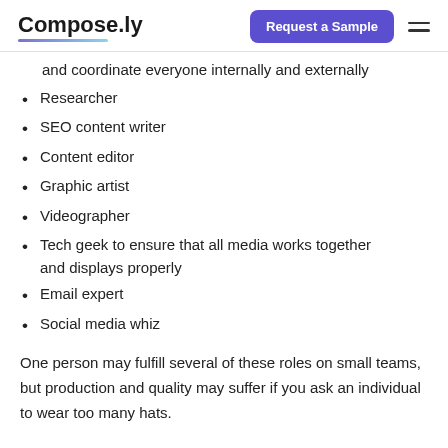Compose.ly | Request a Sample
and coordinate everyone internally and externally
Researcher
SEO content writer
Content editor
Graphic artist
Videographer
Tech geek to ensure that all media works together and displays properly
Email expert
Social media whiz
One person may fulfill several of these roles on small teams, but production and quality may suffer if you ask an individual to wear too many hats.